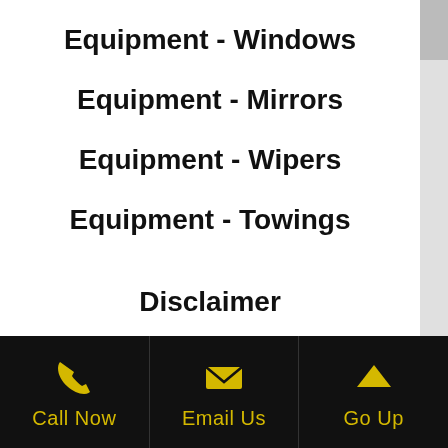Equipment - Windows
Equipment - Mirrors
Equipment - Wipers
Equipment - Towings
Disclaimer
ALTHOUGH THIS SITE CHECKS
Call Now | Email Us | Go Up